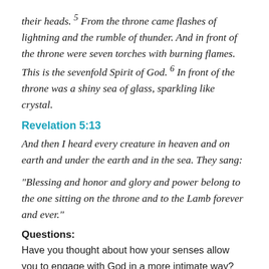their heads. 5 From the throne came flashes of lightning and the rumble of thunder. And in front of the throne were seven torches with burning flames. This is the sevenfold Spirit of God. 6 In front of the throne was a shiny sea of glass, sparkling like crystal.
Revelation 5:13
And then I heard every creature in heaven and on earth and under the earth and in the sea. They sang:
“Blessing and honor and glory and power belong to the one sitting on the throne and to the Lamb forever and ever.”
Questions:
Have you thought about how your senses allow you to engage with God in a more intimate way? What makes you feel closest to God? How can you intentionally